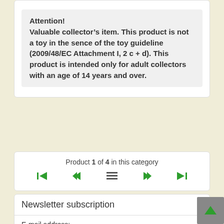Attention! Valuable collector’s item. This product is not a toy in the sence of the toy guideline (2009/48/EC Attachment I, 2 c + d). This product is intended only for adult collectors with an age of 14 years and over.
Product 1 of 4 in this category
Newsletter subscription
E-mail address: